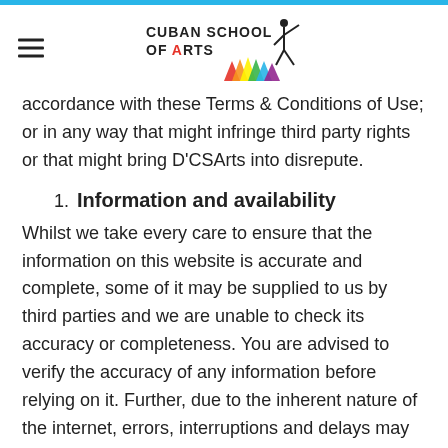Cuban School of Arts
accordance with these Terms & Conditions of Use; or in any way that might infringe third party rights or that might bring D'CSArts into disrepute.
1. Information and availability
Whilst we take every care to ensure that the information on this website is accurate and complete, some of it may be supplied to us by third parties and we are unable to check its accuracy or completeness. You are advised to verify the accuracy of any information before relying on it. Further, due to the inherent nature of the internet, errors, interruptions and delays may occur in the service at any time. Accordingly, this website is provided on an "AS IS" and "AS AVAILABLE" basis without any warranties of any kind and we do not accept any liability arising from any inaccuracy or omission in the information or interruption in